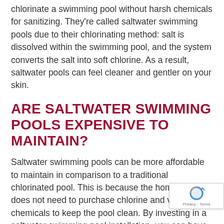chlorinate a swimming pool without harsh chemicals for sanitizing. They're called saltwater swimming pools due to their chlorinating method: salt is dissolved within the swimming pool, and the system converts the salt into soft chlorine. As a result, saltwater pools can feel cleaner and gentler on your skin.
ARE SALTWATER SWIMMING POOLS EXPENSIVE TO MAINTAIN?
Saltwater swimming pools can be more affordable to maintain in comparison to a traditional chlorinated pool. This is because the homeowner does not need to purchase chlorine and various chemicals to keep the pool clean. By investing in a saltwater swimming pool installation, you can have summers filled with your family creating memories to last a lifetime instead of worrying about how you're going to afford your pool maintenance on an annual basis.